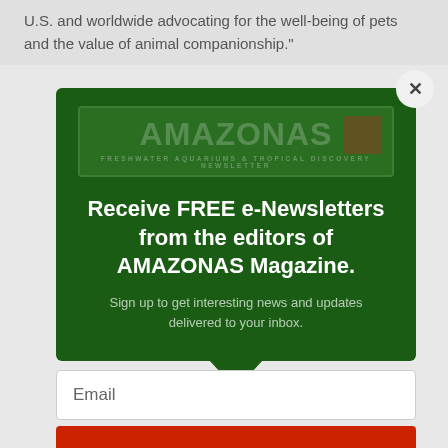U.S. and worldwide advocating for the well-being of pets and the value of animal companionship."
[Figure (logo): AMAZONAS Magazine logo with text 'FRESHWATER AQUARIUMS & TROPICAL DISCOVERY NEWSLETTER']
Receive FREE e-Newsletters from the editors of AMAZONAS Magazine.
Sign up to get interesting news and updates delivered to your inbox.
Email